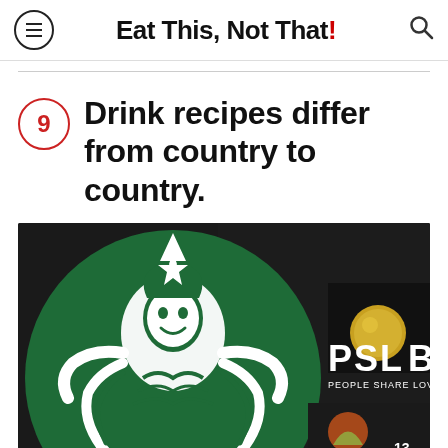Eat This, Not That!
9 Drink recipes differ from country to country.
[Figure (photo): Starbucks storefront with the green Siren logo visible through the window, with 'PSL - People Share Love' text and decorative elements in the background]